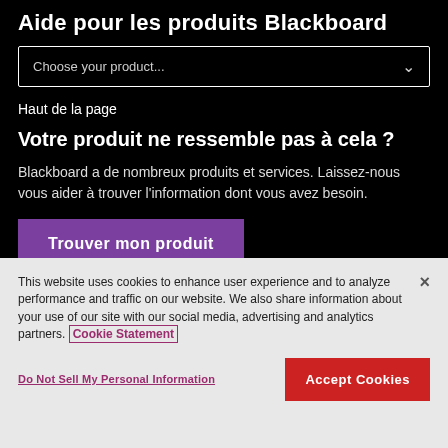Aide pour les produits Blackboard
Choose your product...
Haut de la page
Votre produit ne ressemble pas à cela ?
Blackboard a de nombreux produits et services. Laissez-nous vous aider à trouver l'information dont vous avez besoin.
Trouver mon produit
This website uses cookies to enhance user experience and to analyze performance and traffic on our website. We also share information about your use of our site with our social media, advertising and analytics partners. Cookie Statement
Do Not Sell My Personal Information
Accept Cookies